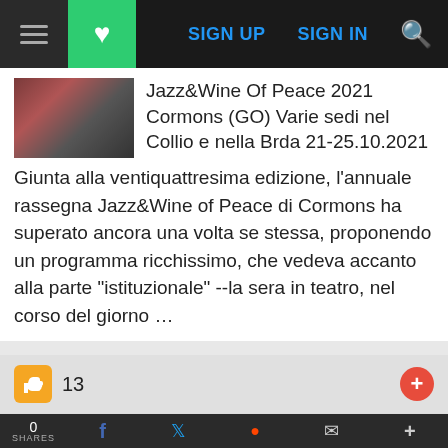SIGN UP  SIGN IN
Jazz&Wine Of Peace 2021 Cormons (GO) Varie sedi nel Collio e nella Brda 21-25.10.2021
Giunta alla ventiquattresima edizione, l'annuale rassegna Jazz&Wine of Peace di Cormons ha superato ancora una volta se stessa, proponendo un programma ricchissimo, che vedeva accanto alla parte "istituzionale" --la sera in teatro, nel corso del giorno …
13
Shop Back To School Deals
0 SHARES